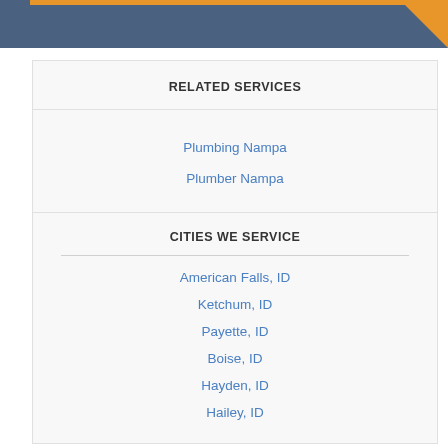[Figure (other): Blue/slate colored header banner with orange accent stripe at top and orange triangle in top-right corner]
RELATED SERVICES
Plumbing Nampa
Plumber Nampa
CITIES WE SERVICE
American Falls, ID
Ketchum, ID
Payette, ID
Boise, ID
Hayden, ID
Hailey, ID